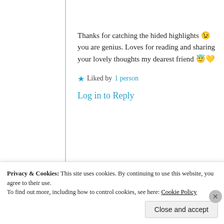Thanks for catching the hided highlights 😉 you are genius. Loves for reading and sharing your lovely thoughts my dearest friend 😇💛
★ Liked by 1 person
Log in to Reply
Privacy & Cookies: This site uses cookies. By continuing to use this website, you agree to their use. To find out more, including how to control cookies, see here: Cookie Policy